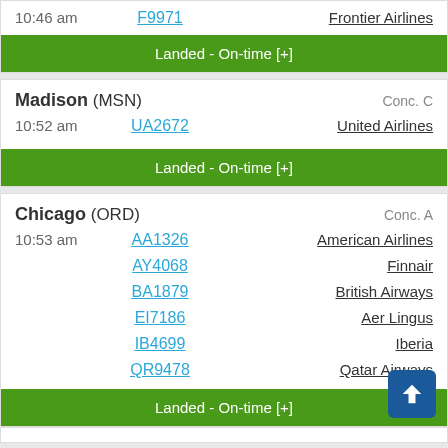10:46 am   F9971   Frontier Airlines
Landed - On-time [+]
Madison (MSN)   Conc. C
10:52 am   UA2672   United Airlines
Landed - On-time [+]
Chicago (ORD)   Conc. A
10:53 am   AA1326   American Airlines
AY4068   Finnair
BA1879   British Airways
EI7186   Aer Lingus
IB4699   Iberia
QR9478   Qatar Airways
Landed - On-time [+]